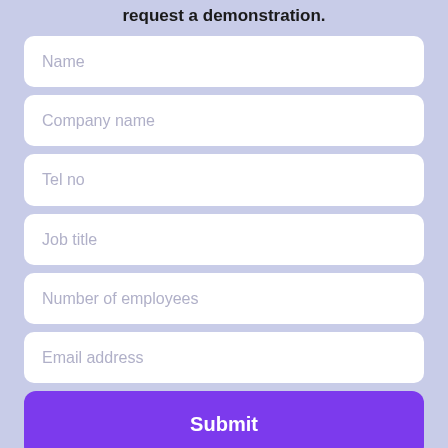request a demonstration.
Name
Company name
Tel no
Job title
Number of employees
Email address
Submit